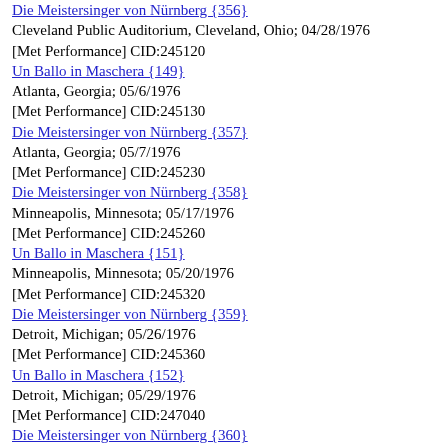Die Meistersinger von Nürnberg {356}
Cleveland Public Auditorium, Cleveland, Ohio; 04/28/1976
[Met Performance] CID:245120
Un Ballo in Maschera {149}
Atlanta, Georgia; 05/6/1976
[Met Performance] CID:245130
Die Meistersinger von Nürnberg {357}
Atlanta, Georgia; 05/7/1976
[Met Performance] CID:245230
Die Meistersinger von Nürnberg {358}
Minneapolis, Minnesota; 05/17/1976
[Met Performance] CID:245260
Un Ballo in Maschera {151}
Minneapolis, Minnesota; 05/20/1976
[Met Performance] CID:245320
Die Meistersinger von Nürnberg {359}
Detroit, Michigan; 05/26/1976
[Met Performance] CID:245360
Un Ballo in Maschera {152}
Detroit, Michigan; 05/29/1976
[Met Performance] CID:247040
Die Meistersinger von Nürnberg {360}
Metropolitan Opera House; 10/13/1976
Debuts: Gerd Brenneis, Dieter Weller, Peter Meven, John